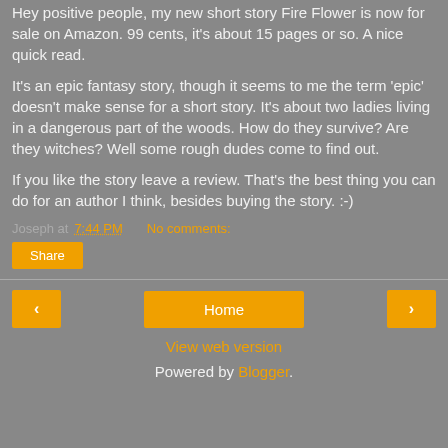Hey positive people, my new short story Fire Flower is now for sale on Amazon. 99 cents, it's about 15 pages or so. A nice quick read.
It's an epic fantasy story, though it seems to me the term 'epic' doesn't make sense for a short story. It's about two ladies living in a dangerous part of the woods. How do they survive? Are they witches? Well some rough dudes come to find out.
If you like the story leave a review. That's the best thing you can do for an author I think, besides buying the story. :-)
Joseph at 7:44 PM    No comments:
Share
◄   Home   ►
View web version
Powered by Blogger.